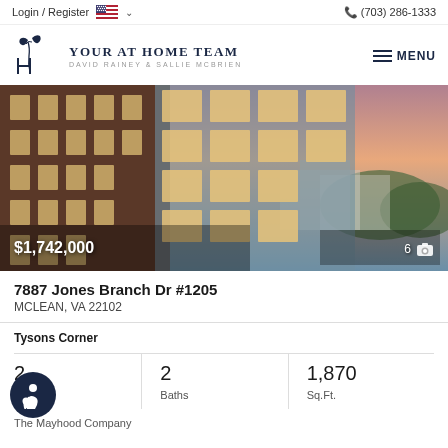Login / Register  (703) 286-1333
[Figure (logo): Your At Home Team logo with decorative script letter and text: YOUR AT HOME TEAM / DAVID RAINEY & SALLIE MCBRIEN]
[Figure (photo): Luxury high-rise condominium building exterior at dusk, showing glass-fronted units with city views and warm interior lighting. Price overlay: $1,742,000. Photo count: 6.]
7887 Jones Branch Dr #1205
MCLEAN, VA 22102
Tysons Corner
2 Baths
1,870 Sq.Ft.
The Mayhood Company